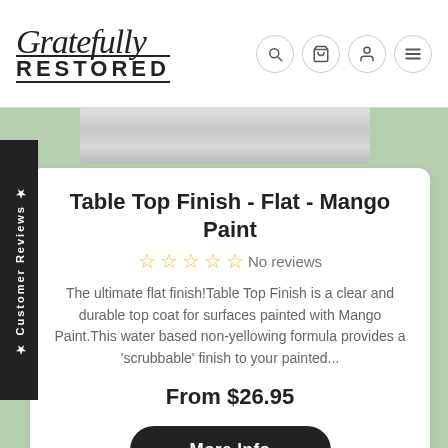[Figure (logo): Gratefully Restored logo with script 'Gratefully' above and 'RESTORED' in bold uppercase with double border lines below]
[Figure (screenshot): Navigation icons: search, cart, user, and menu (hamburger) in circular bordered buttons]
[Figure (photo): Partial product image showing a silver metallic surface at top of card area]
Table Top Finish - Flat - Mango Paint
☆☆☆☆☆ No reviews
The ultimate flat finish!Table Top Finish is a clear and durable top coat for surfaces painted with Mango Paint.This water based non-yellowing formula provides a 'scrubbable' finish to your painted...
From $26.95
More Info